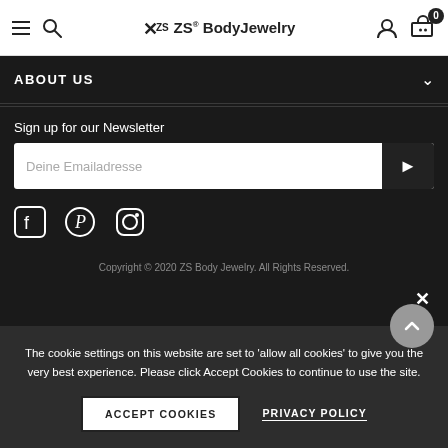[Figure (screenshot): ZS BodyJewelry website header with hamburger menu, search icon, logo, user icon, and cart icon with badge showing 0]
ABOUT US
Sign up for our Newsletter
Deine Emailadresse
[Figure (other): Social media icons: Facebook, Pinterest, Instagram]
Copyright © 2020 ZS Body Jewelry. All Rights Reserved.
The cookie settings on this website are set to 'allow all cookies' to give you the very best experience. Please click Accept Cookies to continue to use the site.
ACCEPT COOKIES
PRIVACY POLICY